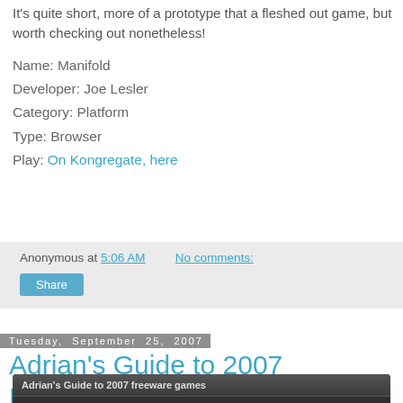It's quite short, more of a prototype that a fleshed out game, but worth checking out nonetheless!
Name: Manifold
Developer: Joe Lesler
Category: Platform
Type: Browser
Play: On Kongregate, here
Anonymous at 5:06 AM   No comments:
Share
Tuesday, September 25, 2007
Adrian's Guide to 2007 Freeware Games
[Figure (screenshot): Screenshot of a blog/forum post titled Adrian's Guide to 2007 freeware games, showing a row with AdrianWerner Level 38 and Sep 25, 2007 12:30 pm PT]